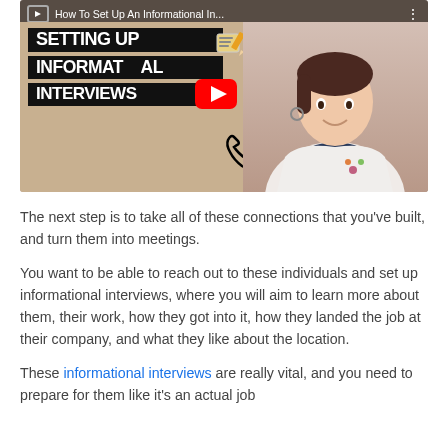[Figure (screenshot): YouTube video thumbnail showing 'How To Set Up An Informational In...' with bold white text on black banners reading SETTING UP INFORMATIONAL INTERVIEWS, a YouTube play button overlay, a woman on the right side, a phone icon, and a pencil/notepad icon.]
The next step is to take all of these connections that you've built, and turn them into meetings.
You want to be able to reach out to these individuals and set up informational interviews, where you will aim to learn more about them, their work, how they got into it, how they landed the job at their company, and what they like about the location.
These informational interviews are really vital, and you need to prepare for them like it's an actual job...